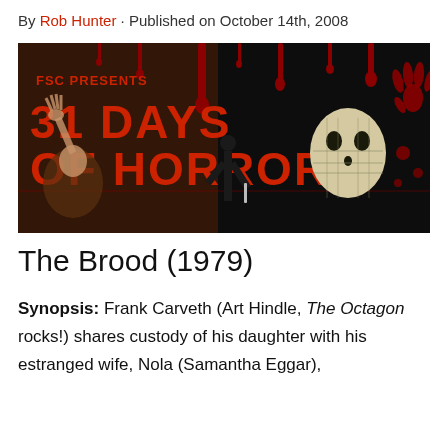By Rob Hunter · Published on October 14th, 2008
[Figure (illustration): FSC Presents 31 Days of Horror banner image with horror movie imagery including a masked killer (Jason Voorhees style mask), a screaming woman, a silhouette with a knife, and blood drips. Red text on black background.]
The Brood (1979)
Synopsis: Frank Carveth (Art Hindle, The Octagon rocks!) shares custody of his daughter with his estranged wife, Nola (Samantha Eggar),